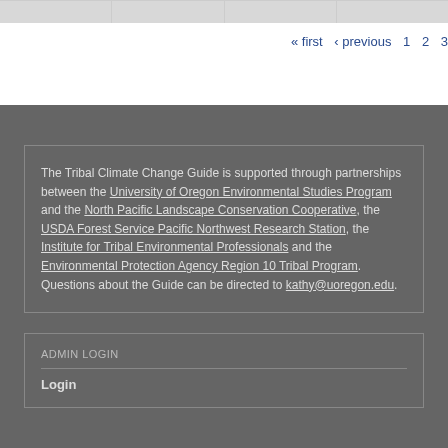|   |   |   |   |
« first ‹ previous 1 2 3
The Tribal Climate Change Guide is supported through partnerships between the University of Oregon Environmental Studies Program and the North Pacific Landscape Conservation Cooperative, the USDA Forest Service Pacific Northwest Research Station, the Institute for Tribal Environmental Professionals and the Environmental Protection Agency Region 10 Tribal Program. Questions about the Guide can be directed to kathy@uoregon.edu.
ADMIN LOGIN
Login